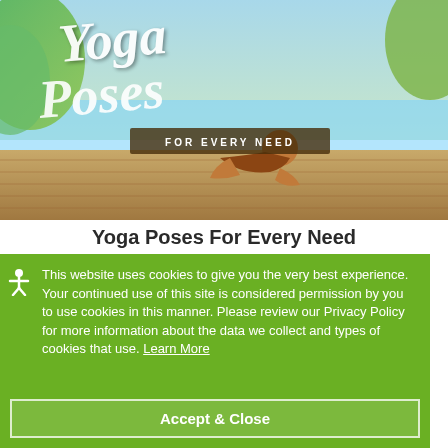[Figure (photo): Hero image of a woman doing yoga on a wooden deck outdoors with trees and water in background. Script text overlay reads 'Yoga Poses' with subtitle 'FOR EVERY NEED' on a brown banner.]
Yoga Poses For Every Need
This website uses cookies to give you the very best experience. Your continued use of this site is considered permission by you to use cookies in this manner. Please review our Privacy Policy for more information about the data we collect and types of cookies that use. Learn More
Accept & Close